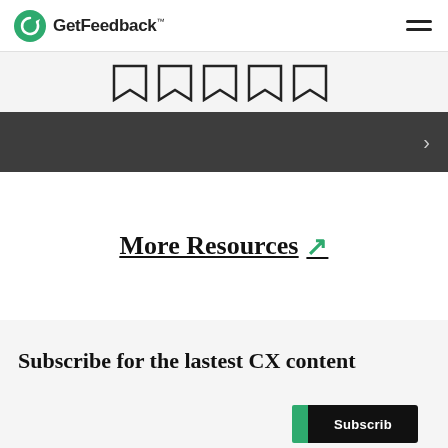[Figure (logo): GetFeedback logo with green circular arrow icon and brand name text with TM mark]
[Figure (illustration): Five star/ribbon icons in a row on light grey background banner]
[Figure (screenshot): Dark grey navigation bar with right-pointing chevron arrow on right side]
More Resources ↗
Subscribe for the lastest CX content
[Figure (screenshot): Subscribe button area with dark and green button elements partially visible at bottom]